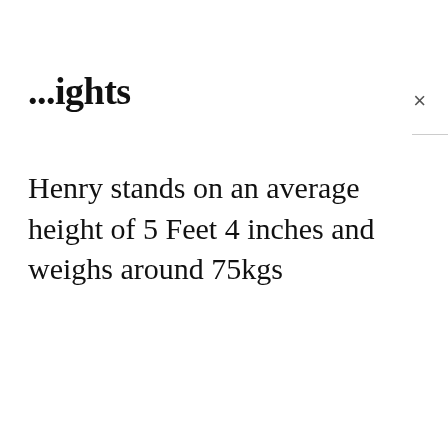...ights
Henry stands on an average height of 5 Feet 4 inches and weighs around 75kgs